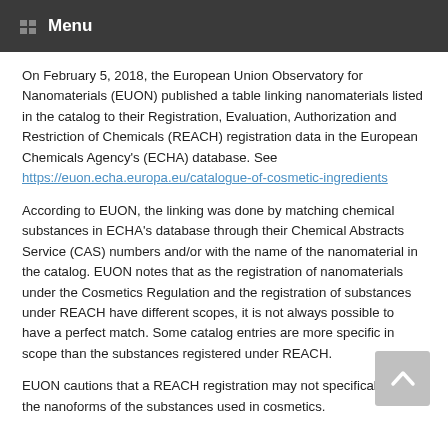Menu
On February 5, 2018, the European Union Observatory for Nanomaterials (EUON) published a table linking nanomaterials listed in the catalog to their Registration, Evaluation, Authorization and Restriction of Chemicals (REACH) registration data in the European Chemicals Agency's (ECHA) database. See https://euon.echa.europa.eu/catalogue-of-cosmetic-ingredients
According to EUON, the linking was done by matching chemical substances in ECHA's database through their Chemical Abstracts Service (CAS) numbers and/or with the name of the nanomaterial in the catalog. EUON notes that as the registration of nanomaterials under the Cosmetics Regulation and the registration of substances under REACH have different scopes, it is not always possible to have a perfect match. Some catalog entries are more specific in scope than the substances registered under REACH.
EUON cautions that a REACH registration may not specifically cover the nanoforms of the substances used in cosmetics.